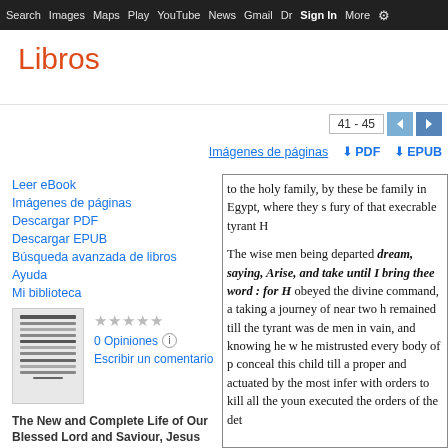Search  Images  Maps  Play  YouTube  News  Gmail  Dr  Sign In  More  ⚙
Libros
41 - 45
Imágenes de páginas   ↓ PDF   ↓ EPUB
Leer eBook
Imágenes de páginas
Descargar PDF
Descargar EPUB
Búsqueda avanzada de libros
Ayuda
Mi biblioteca
[Figure (photo): Thumbnail of book cover for The New and Complete Life of Our Blessed Lord and Saviour, Jesus Christ]
★★★★★
0 Opiniones ⓘ
Escribir un comentario
to the holy family, by these be family in Egypt, where they s fury of that execrable tyrant H

The wise men being departed dream, saying, Arise, and take until I bring thee word : for H obeyed the divine command, a taking a journey of near two h remained till the tyrant was de men in vain, and knowing he w he mistrusted every body of p conceal this child till a proper and actuated by the most infer with orders to kill all the youn executed the orders of the det
The New and Complete Life of Our Blessed Lord and Saviour, Jesus Christ